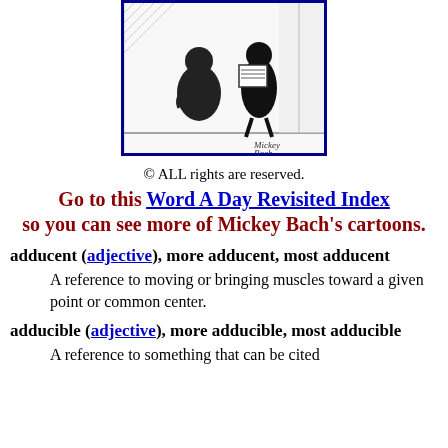[Figure (illustration): Mickey Bach cartoon showing two characters in a room, one seated and one standing, with 'Mickey Bach' signature visible]
© ALL rights are reserved.
Go to this Word A Day Revisited Index so you can see more of Mickey Bach's cartoons.
adducent (adjective), more adducent, most adducent
A reference to moving or bringing muscles toward a given point or common center.
adducible (adjective), more adducible, most adducible
A reference to something that can be cited